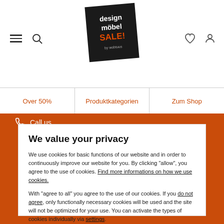[Figure (logo): design möbel SALE! by wobtuus logo on dark rotated square]
Over 50%
Produktkategorien
Zum Shop
Call us
We value your privacy
We use cookies for basic functions of our website and in order to continuously improve our website for you. By clicking "allow", you agree to the use of cookies. Find more informations on how we use cookies.
With "agree to all" you agree to the use of our cookies. If you do not agree, only functionally necessary cookies will be used and the site will not be optimized for your use. You can activate the types of cookies individually via settings.
Settings
Agree to all